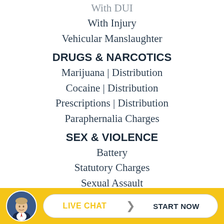With Injury
Vehicular Manslaughter
DRUGS & NARCOTICS
Marijuana | Distribution
Cocaine | Distribution
Prescriptions | Distribution
Paraphernalia Charges
SEX & VIOLENCE
Battery
Statutory Charges
Sexual Assault
GUNS & FIREARMS
[Figure (infographic): Live chat widget with avatar photo of a man in a suit on a yellow background bar. Button reads LIVE CHAT > START NOW]